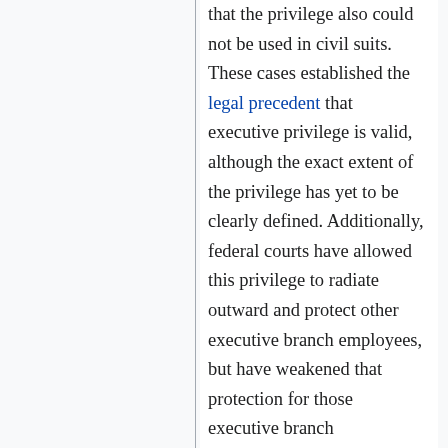that the privilege also could not be used in civil suits. These cases established the legal precedent that executive privilege is valid, although the exact extent of the privilege has yet to be clearly defined. Additionally, federal courts have allowed this privilege to radiate outward and protect other executive branch employees, but have weakened that protection for those executive branch communications that do not involve the president.[101]
The state secrets privilege allows the president and the executive branch to withhold information or documents from discovery in legal proceedings if such release would harm national security. Precedent for the privilege arose early in the 19th century when Thomas Jefferson refused to release military documents in